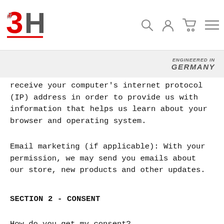3H Logo header with navigation icons (search, account, cart, menu) and Engineered in Germany banner
receive your computer's internet protocol (IP) address in order to provide us with information that helps us learn about your browser and operating system.
Email marketing (if applicable): With your permission, we may send you emails about our store, new products and other updates.
SECTION 2 - CONSENT
How do you get my consent?
When you provide us with personal information to